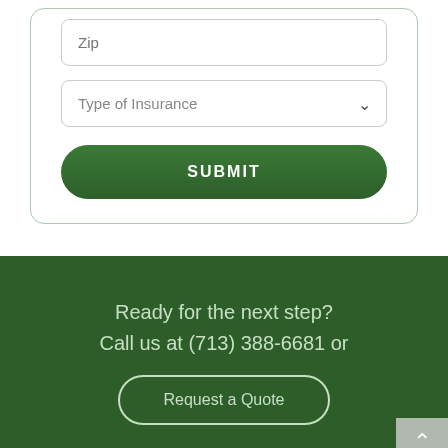Zip
Type of Insurance
SUBMIT
Ready for the next step?
Call us at (713) 388-6681 or
Request a Quote